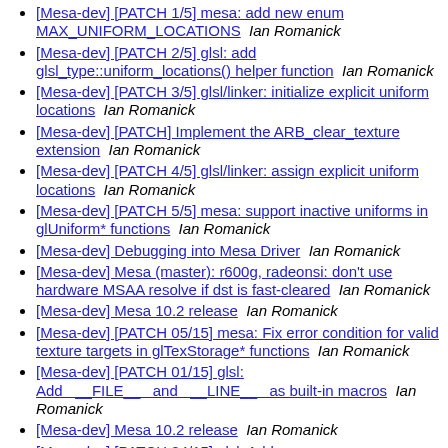[Mesa-dev] [PATCH 1/5] mesa: add new enum MAX_UNIFORM_LOCATIONS  Ian Romanick
[Mesa-dev] [PATCH 2/5] glsl: add glsl_type::uniform_locations() helper function  Ian Romanick
[Mesa-dev] [PATCH 3/5] glsl/linker: initialize explicit uniform locations  Ian Romanick
[Mesa-dev] [PATCH] Implement the ARB_clear_texture extension  Ian Romanick
[Mesa-dev] [PATCH 4/5] glsl/linker: assign explicit uniform locations  Ian Romanick
[Mesa-dev] [PATCH 5/5] mesa: support inactive uniforms in glUniform* functions  Ian Romanick
[Mesa-dev] Debugging into Mesa Driver  Ian Romanick
[Mesa-dev] Mesa (master): r600g, radeonsi: don't use hardware MSAA resolve if dst is fast-cleared  Ian Romanick
[Mesa-dev] Mesa 10.2 release  Ian Romanick
[Mesa-dev] [PATCH 05/15] mesa: Fix error condition for valid texture targets in glTexStorage* functions  Ian Romanick
[Mesa-dev] [PATCH 01/15] glsl: Add __FILE__ and __LINE__ as built-in macros  Ian Romanick
[Mesa-dev] Mesa 10.2 release  Ian Romanick
[Mesa-dev] [PATCH 04/15] glsl: Add preprocessor error condition for #else directive  Ian Romanick